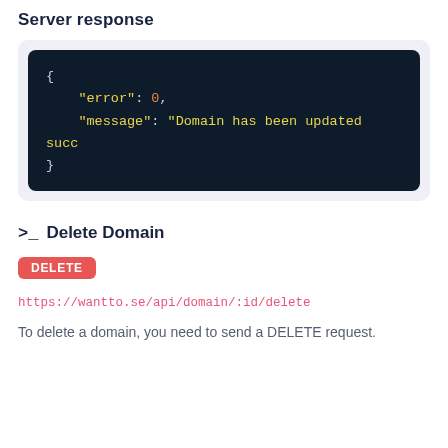Server response
[Figure (screenshot): Dark code block showing JSON server response: { "error": 0, "message": "Domain has been updated succ... }]
>_ Delete Domain
DELETE
https://wantto.se/api/domain/:id/delete
To delete a domain, you need to send a DELETE request.